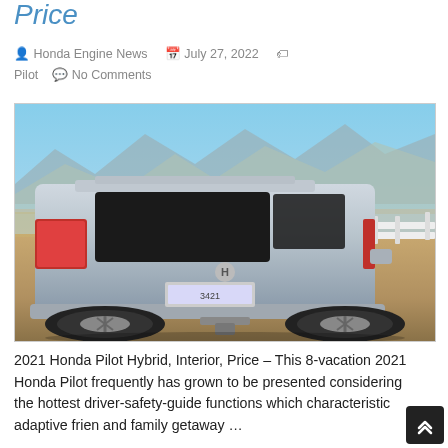Price
Honda Engine News   July 27, 2022   Pilot   No Comments
[Figure (photo): Rear three-quarter view of a silver Honda Pilot SUV parked on a dirt road with mountains and blue sky in the background, white fence visible on the right.]
2021 Honda Pilot Hybrid, Interior, Price – This 8-vacation 2021 Honda Pilot frequently has grown to be presented considering the hottest driver-safety-guide functions which characteristic adaptive frien and family getaway …